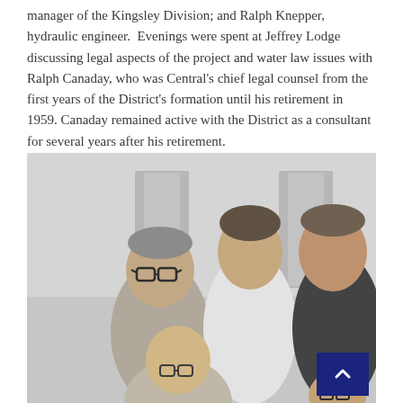manager of the Kingsley Division; and Ralph Knepper, hydraulic engineer.  Evenings were spent at Jeffrey Lodge discussing legal aspects of the project and water law issues with Ralph Canaday, who was Central's chief legal counsel from the first years of the District's formation until his retirement in 1959. Canaday remained active with the District as a consultant for several years after his retirement.
[Figure (photo): Black and white photograph of a group of men. In the foreground, a man with glasses and receding hairline sits. Standing behind are three men: one on the left wearing a light patterned shirt and glasses, one in the center wearing a white shirt, and one on the right in a dark zip-up shirt. A partially visible man with glasses appears in the lower right. A blue scroll-to-top button overlays the bottom right corner.]